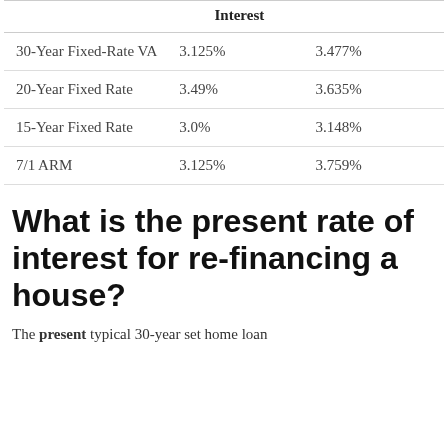|  | Interest |  |
| --- | --- | --- |
| 30-Year Fixed-Rate VA | 3.125% | 3.477% |
| 20-Year Fixed Rate | 3.49% | 3.635% |
| 15-Year Fixed Rate | 3.0% | 3.148% |
| 7/1 ARM | 3.125% | 3.759% |
What is the present rate of interest for re-financing a house?
The present typical 30-year set home loan